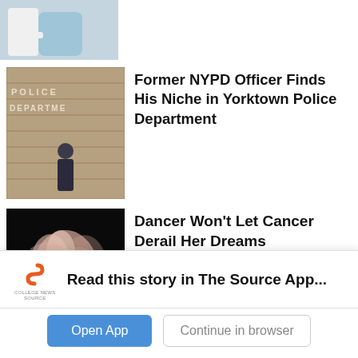[Figure (photo): Partial image of two people, one in a light blue outfit, cropped at top]
[Figure (photo): Police department wall with letters spelling POLICE DEPARTMENT and an officer standing in front of the brick wall]
Former NYPD Officer Finds His Niche in Yorktown Police Department
[Figure (photo): Dancer in flowing pink/peach dress against black background, aerial pose]
Dancer Won’t Let Cancer Derail Her Dreams
[Figure (photo): Yorktown sign with beige/tan background]
Mercy Alumnus Police Chief on
Read this story in The Source App...
Open App
Continue in browser